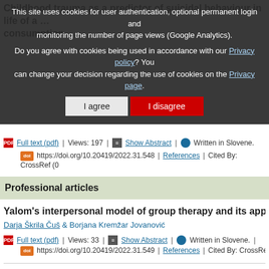Childhood trauma as a predictor of suicidal behaviour in life of a … consumption
[Figure (screenshot): Cookie consent overlay with 'I agree' and 'I disagree' buttons. Text: 'This site uses cookies for user authentication, optional permanent login and monitoring the number of page views (Google Analytics). Do you agree with cookies being used in accordance with our Privacy policy? You can change your decision regarding the use of cookies on the Privacy page.']
Full text (pdf) | Views: 197 | Show Abstract | Written in Slovene.
https://doi.org/10.20419/2022.31.548 | References | Cited By: CrossRef (0)
Professional articles
Yalom's interpersonal model of group therapy and its application…
Darja Škrila Čuš & Borjana Kremžar Jovanović
Full text (pdf) | Views: 33 | Show Abstract | Written in Slovene. |
https://doi.org/10.20419/2022.31.549 | References | Cited By: CrossRef (0…
The effects of general anesthesia on cognition in children – a rev…
Vesna Mlinarič Lešnik, Janez Bregar & Ivana Kreft Hausmeister
Full text (pdf) | Views: 51 | Show Abstract | Written in Slovene.